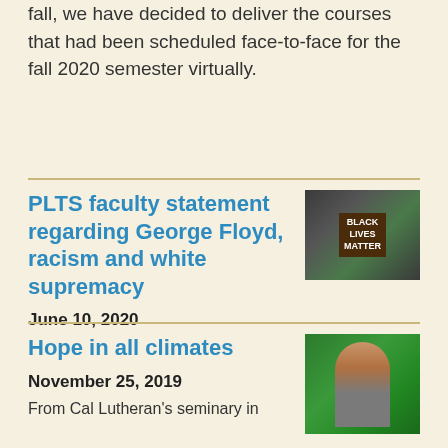fall, we have decided to deliver the courses that had been scheduled face-to-face for the fall 2020 semester virtually.
PLTS faculty statement regarding George Floyd, racism and white supremacy
June 10, 2020
[Figure (photo): Photo of Black Lives Matter protest with people holding signs reading BLACK LIVES MATTER]
Hope in all climates
November 25, 2019
[Figure (photo): Photo of a woman with glasses standing in front of a green mural with a deer]
From Cal Lutheran's seminary in